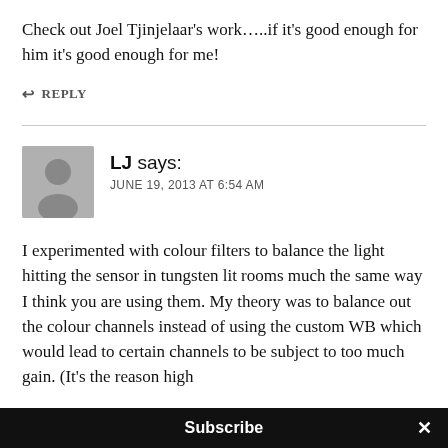Check out Joel Tjinjelaar's work…..if it's good enough for him it's good enough for me!
↩ REPLY
LJ says:
JUNE 19, 2013 AT 6:54 AM
I experimented with colour filters to balance the light hitting the sensor in tungsten lit rooms much the same way I think you are using them. My theory was to balance out the colour channels instead of using the custom WB which would lead to certain channels to be subject to too much gain. (It's the reason high ISO testing should always be done tungsten lit…
Subscribe